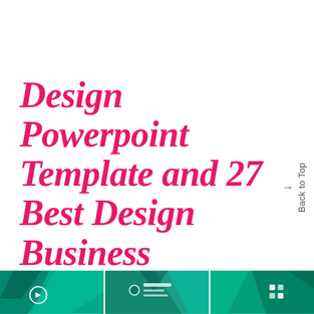Design Powerpoint Template and 27 Best Design Business Professional Powerpoint Templates
Back to Top →
[Figure (screenshot): Image strip at the bottom showing three thumbnail previews of PowerPoint template slides with teal/green geometric polygon backgrounds]